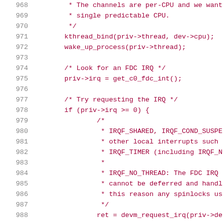Source code listing, lines 968–988, showing C kernel code with comments about per-CPU channels, kthread_bind, wake_up_process, FDC IRQ lookup, IRQ request with flags IRQF_SHARED, IRQF_COND_SUSPEND, IRQF_TIMER, IRQF_NO_THREAD, and devm_request_irq call.